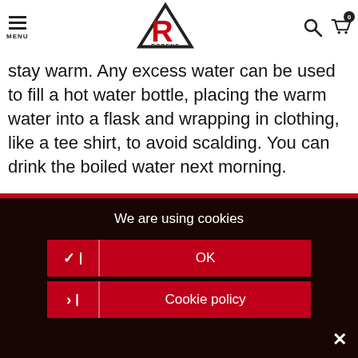MENU | Robens logo | search | cart (0)
stay warm. Any excess water can be used to fill a hot water bottle, placing the warm water into a flask and wrapping in clothing, like a tee shirt, to avoid scalding. You can drink the boiled water next morning.

Have fun cooking!
We are using cookies
✓ | OK
> | Cookie policy